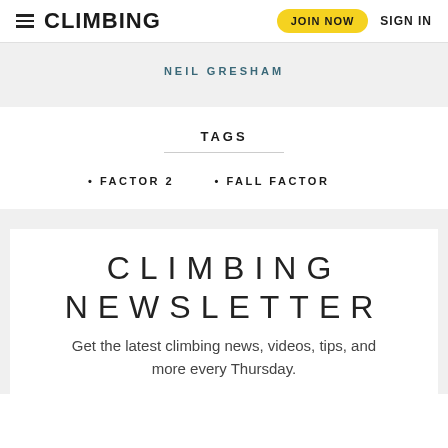CLIMBING — JOIN NOW   SIGN IN
NEIL GRESHAM
TAGS
FACTOR 2
FALL FACTOR
CLIMBING NEWSLETTER
Get the latest climbing news, videos, tips, and more every Thursday.